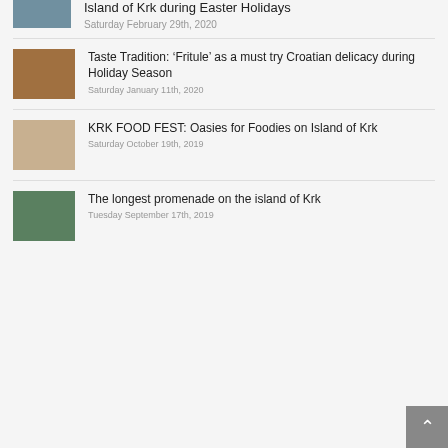Island of Krk during Easter Holidays
Saturday February 29th, 2020
Taste Tradition: ‘Fritule’ as a must try Croatian delicacy during Holiday Season
Saturday January 11th, 2020
KRK FOOD FEST: Oasies for Foodies on Island of Krk
Saturday October 19th, 2019
The longest promenade on the island of Krk
Tuesday September 17th, 2019